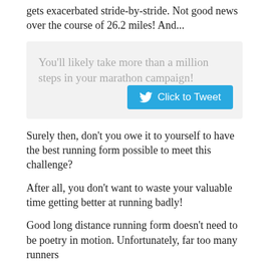Even the smallest defect in your running technique gets exacerbated stride-by-stride. Not good news over the course of 26.2 miles! And...
You'll likely take more than a million steps in your marathon campaign!
Surely then, don't you owe it to yourself to have the best running form possible to meet this challenge?
After all, you don't want to waste your valuable time getting better at running badly!
Good long distance running form doesn't need to be poetry in motion. Unfortunately, far too many runners